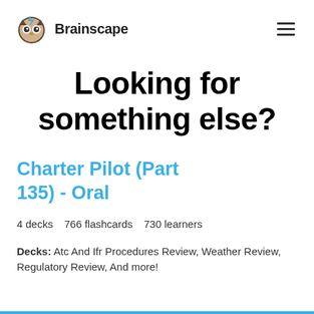Brainscape
Looking for something else?
Charter Pilot (Part 135) - Oral
4 decks   766 flashcards   730 learners
Decks: Atc And Ifr Procedures Review, Weather Review, Regulatory Review, And more!